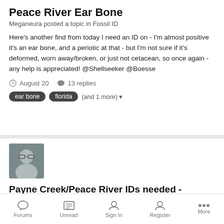Peace River Ear Bone
Meganeura posted a topic in Fossil ID
Here's another find from today I need an ID on - I'm almost positive it's an ear bone, and a periotic at that - but I'm not sure if it's deformed, worn away/broken, or just not cetacean, so once again - any help is appreciated! @Shellseeker @Boesse
August 20   13 replies
ear bone
florida
(and 1 more)
[Figure (photo): User avatar photo showing a person wearing glasses in a car]
Payne Creek/Peace River IDs needed - armadillo scute, shark tooth, something else
Meganeura posted a topic in Fossil ID
Okay, a few IDs are needed today - shark tooth, using I hope is an
Forums   Unread   Sign In   Register   More